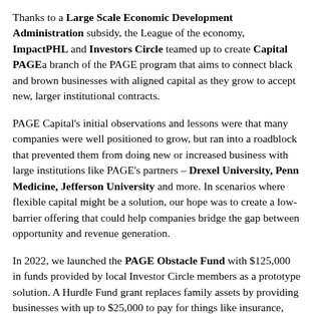Thanks to a Large Scale Economic Development Administration subsidy, the League of the economy, ImpactPHL and Investors Circle teamed up to create Capital PAGE a branch of the PAGE program that aims to connect black and brown businesses with aligned capital as they grow to accept new, larger institutional contracts.
PAGE Capital's initial observations and lessons were that many companies were well positioned to grow, but ran into a roadblock that prevented them from doing new or increased business with large institutions like PAGE's partners – Drexel University, Penn Medicine, Jefferson University and more. In scenarios where flexible capital might be a solution, our hope was to create a low-barrier offering that could help companies bridge the gap between opportunity and revenue generation.
In 2022, we launched the PAGE Obstacle Fund with $125,000 in funds provided by local Investor Circle members as a prototype solution. A Hurdle Fund grant replaces family assets by providing businesses with up to $25,000 to pay for things like insurance, equipment or certification. The Hurdle Fund's Independent Grants Committee has approved two awards to date and the aim is to deploy the full fund by the end of the year. If a company would like to learn more and apply, they can apply directly below or contact Melina Harris (mharris@economyleauge.org) to receive